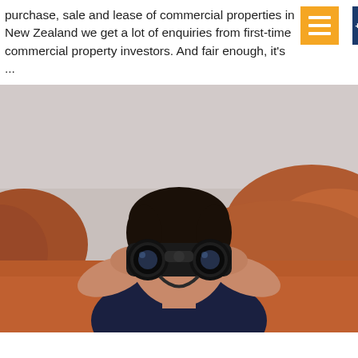purchase, sale and lease of commercial properties in New Zealand we get a lot of enquiries from first-time commercial property investors. And fair enough, it's ...
[Figure (photo): A person holding binoculars up to their eyes, photographed against a reddish desert landscape background. The subject is wearing a dark navy t-shirt and looking directly through the binoculars toward the camera.]